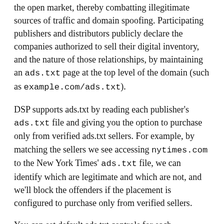the open market, thereby combatting illegitimate sources of traffic and domain spoofing. Participating publishers and distributors publicly declare the companies authorized to sell their digital inventory, and the nature of those relationships, by maintaining an ads.txt page at the top level of the domain (such as example.com/ads.txt).
DSP supports ads.txt by reading each publisher's ads.txt file and giving you the option to purchase only from verified ads.txt sellers. For example, by matching the sellers we see accessing nytimes.com to the New York Times' ads.txt file, we can identify which are legitimate and which are not, and we'll block the offenders if the placement is configured to purchase only from verified sellers.
You can set default ads.txt controls for each advertiser, and then optionally customize the settings for each placement to:
buy inventory from a domain's authorized direct sellers only
buy inventory from a domain's authorized direct and resellers